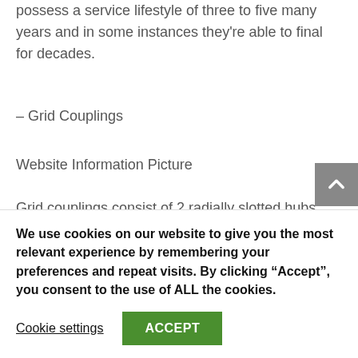possess a service lifestyle of three to five many years and in some instances they're able to final for decades.
– Grid Couplings
Website Information Picture
Grid couplings consist of 2 radially slotted hubs that mesh having a serpentine strip of spring steel the grid offers torsional damping and flexibility of an elastomer but the strength of steel. Grid couplings transmit torque and accommodate angular, parallel and axial misalignment from one particular hub to the other by way of the rocking and sliding of the
We use cookies on our website to give you the most relevant experience by remembering your preferences and repeat visits. By clicking “Accept”, you consent to the use of ALL the cookies.